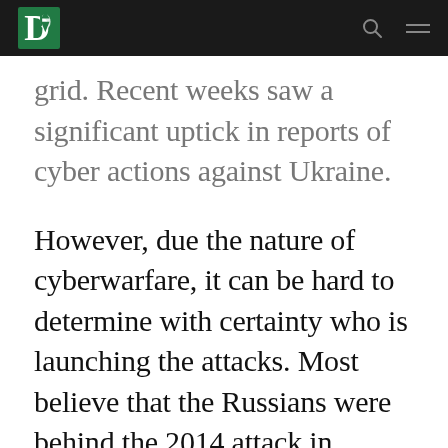Dartmouth logo, search icon, menu icon
grid. Recent weeks saw a significant uptick in reports of cyber actions against Ukraine.
However, due the nature of cyberwarfare, it can be hard to determine with certainty who is launching the attacks. Most believe that the Russians were behind the 2014 attack in Ukraine, and that the U.S. and Israel were behind Stuxnet in Iran, but